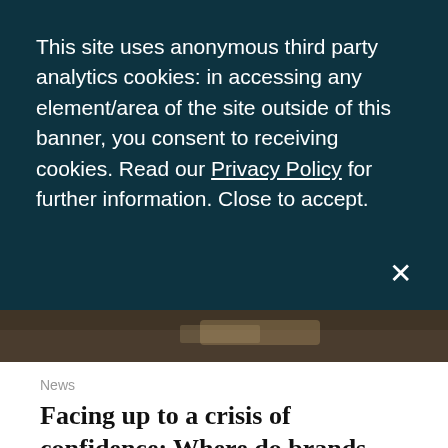This site uses anonymous third party analytics cookies: in accessing any element/area of the site outside of this banner, you consent to receiving cookies. Read our Privacy Policy for further information. Close to accept.
[Figure (photo): Partial photo strip visible behind the cookie banner overlay, showing a dark brownish outdoor scene]
News
Facing up to a crisis of confidence: Where do brands, agencies & tech go from here
The very public 'Big brands fund terror' investigation in The Times has shaken the